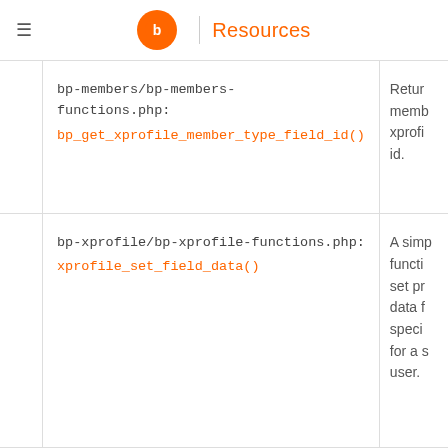Resources
| Source | Description |
| --- | --- |
| bp-members/bp-members-functions.php: bp_get_xprofile_member_type_field_id() | Returns the member xprofile member type field id. |
| bp-xprofile/bp-xprofile-functions.php: xprofile_set_field_data() | A simple function to set profile data for a specified field for a specific user. |